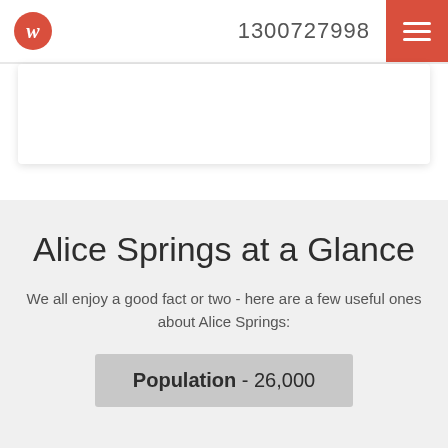w 1300727998
Alice Springs at a Glance
We all enjoy a good fact or two - here are a few useful ones about Alice Springs:
Population - 26,000